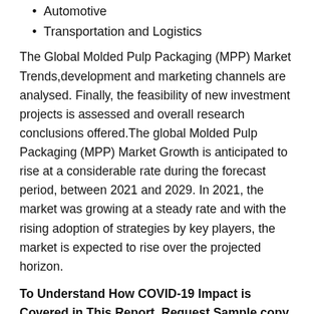Automotive
Transportation and Logistics
The Global Molded Pulp Packaging (MPP) Market Trends,development and marketing channels are analysed. Finally, the feasibility of new investment projects is assessed and overall research conclusions offered.The global Molded Pulp Packaging (MPP) Market Growth is anticipated to rise at a considerable rate during the forecast period, between 2021 and 2029. In 2021, the market was growing at a steady rate and with the rising adoption of strategies by key players, the market is expected to rise over the projected horizon.
To Understand How COVID-19 Impact is Covered in This Report. Request Sample copy of the report at – : https://www.marketreportsworld.com/enquiry/request-covid19/20676914